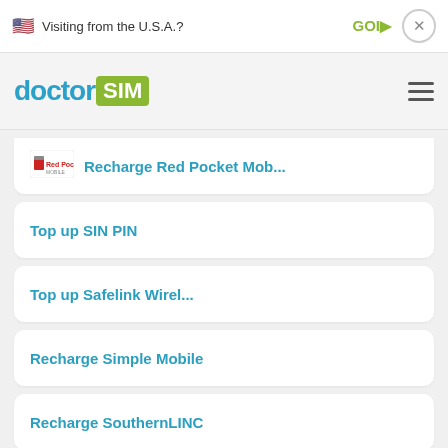Visiting from the U.S.A.?   GOI>   ×
[Figure (logo): doctorSIM logo with hamburger menu]
Recharge Red Pocket Mob...
Top up SIN PIN
Top up Safelink Wirel...
Recharge Simple Mobile
Recharge SouthernLINC
Recharge Spectrum